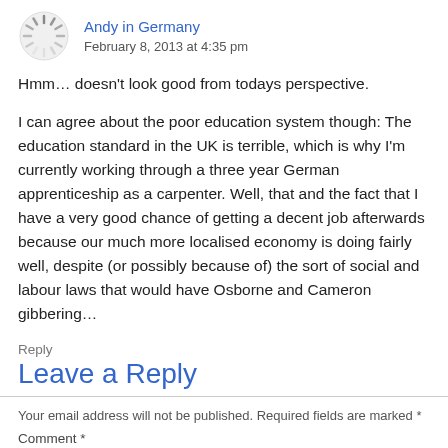Andy in Germany
February 8, 2013 at 4:35 pm
Hmm… doesn't look good from todays perspective.
I can agree about the poor education system though: The education standard in the UK is terrible, which is why I'm currently working through a three year German apprenticeship as a carpenter. Well, that and the fact that I have a very good chance of getting a decent job afterwards because our much more localised economy is doing fairly well, despite (or possibly because of) the sort of social and labour laws that would have Osborne and Cameron gibbering…
Reply
Leave a Reply
Your email address will not be published. Required fields are marked *
Comment *